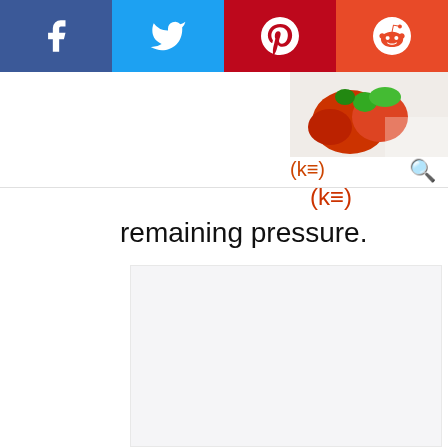[Figure (screenshot): Social media share bar with Facebook (blue), Twitter (light blue), Pinterest (dark red), and Reddit (orange) buttons with white icons]
[Figure (photo): Partial view of a food photo with tomatoes and herbs, partially visible in top right area of page]
(k=2)
remaining pressure.
[Figure (other): Large light gray advertisement placeholder box occupying the lower portion of the page]